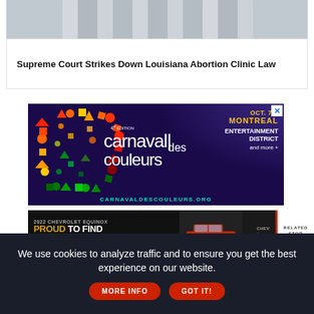[Figure (photo): Partial view of a classical building with white stone columns, cropped at top of page]
Supreme Court Strikes Down Louisiana Abortion Clinic Law
[Figure (photo): Advertisement for Carnaval des Couleurs, 4th edition, Oct. 7-9, Montreal, Entertainment District and more+. Website: carnavaldescouleurs.org. Features colorful geometric shapes in a C-shape arc on dark purple background with stage lighting.]
[Figure (photo): Advertisement for 2022 Chevrolet Equinox: 'Proud to Find New Roads' with image of red SUV and Chevy logo]
RELATED STOR
We use cookies to analyze traffic and to ensure you get the best experience on our website.
MORE INFO
GOT IT!